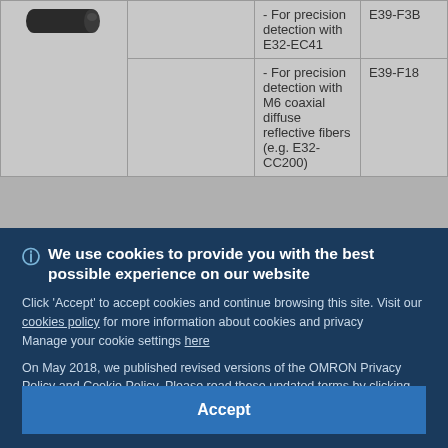| Image |  | Description | Model |
| --- | --- | --- | --- |
| [image] |  | - For precision detection with E32-EC41 | E39-F3B |
|  |  | - For precision detection with M6 coaxial diffuse reflective fibers (e.g. E32-CC200) | E39-F18 |
We use cookies to provide you with the best possible experience on our website
Click 'Accept' to accept cookies and continue browsing this site. Visit our cookies policy for more information about cookies and privacy
Manage your cookie settings here
On May 2018, we published revised versions of the OMRON Privacy Policy and Cookie Policy. Please read these updated terms by clicking here. Your use of our products and services is subject to these revised terms
Accept